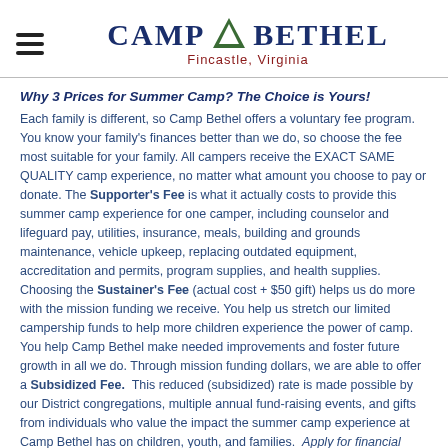Camp Bethel — Fincastle, Virginia
Why 3 Prices for Summer Camp?  The Choice is Yours!
Each family is different, so Camp Bethel offers a voluntary fee program. You know your family's finances better than we do, so choose the fee most suitable for your family. All campers receive the EXACT SAME QUALITY camp experience, no matter what amount you choose to pay or donate. The Supporter's Fee is what it actually costs to provide this summer camp experience for one camper, including counselor and lifeguard pay, utilities, insurance, meals, building and grounds maintenance, vehicle upkeep, replacing outdated equipment, accreditation and permits, program supplies, and health supplies. Choosing the Sustainer's Fee (actual cost + $50 gift) helps us do more with the mission funding we receive. You help us stretch our limited campership funds to help more children experience the power of camp. You help Camp Bethel make needed improvements and foster future growth in all we do. Through mission funding dollars, we are able to offer a Subsidized Fee.  This reduced (subsidized) rate is made possible by our District congregations, multiple annual fund-raising events, and gifts from individuals who value the impact the summer camp experience at Camp Bethel has on children, youth, and families.  Apply for financial